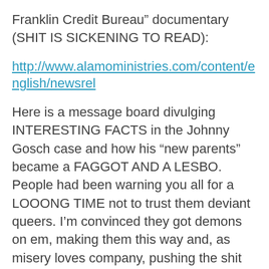Franklin Credit Bureau” documentary (SHIT IS SICKENING TO READ):
http://www.alamoministries.com/content/english/newsrel
Here is a message board divulging INTERESTING FACTS in the Johnny Gosch case and how his “new parents” became a FAGGOT AND A LESBO. People had been warning you all for a LOOONG TIME not to trust them deviant queers. I’m convinced they got demons on em, making them this way and, as misery loves company, pushing the shit on us hence why like any demon/archon possessed person THEY CRY when you call em out. GAYS, LESBOS, TRANNIES HAVE BEEN AT THE FOREFRONT OF PUSHING PEDOPHILIA. ABOUT TIME WE RECOGNIZE THIS SHIT and I don’t even like